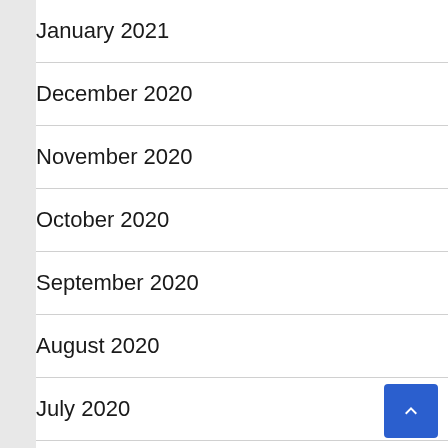January 2021
December 2020
November 2020
October 2020
September 2020
August 2020
July 2020
March 2020
November 2018